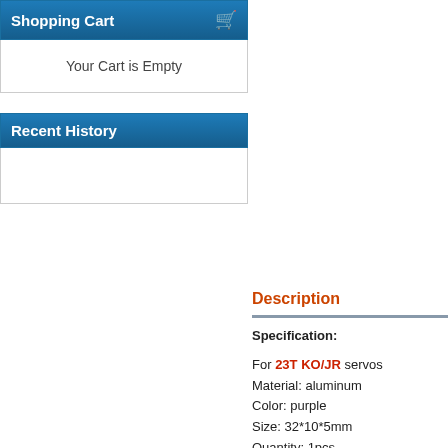Shopping Cart
Your Cart is Empty
Recent History
Description
Specification:
For 23T KO/JR servos
Material: aluminum
Color: purple
Size: 32*10*5mm
Quantity: 1pcs
Weight: 5g
Size reference:
EF≈32mm
OA≈16mm
OB≈20mm
OC≈24mm
Heavy duty servoarms series:
| 23T KO/JR | 24T HITEC | 25T R... |
| --- | --- | --- |